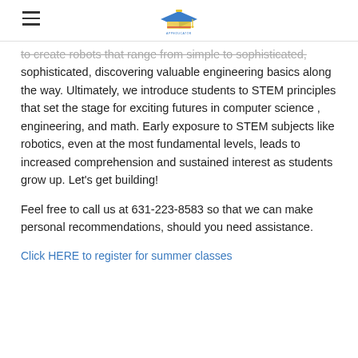[hamburger menu icon] [AppEducator logo]
to create robots that range from simple to sophisticated, discovering valuable engineering basics along the way. Ultimately, we introduce students to STEM principles that set the stage for exciting futures in computer science , engineering, and math. Early exposure to STEM subjects like robotics, even at the most fundamental levels, leads to increased comprehension and sustained interest as students grow up. Let's get building!
Feel free to call us at 631-223-8583 so that we can make personal recommendations, should you need assistance.
Click HERE to register for summer classes